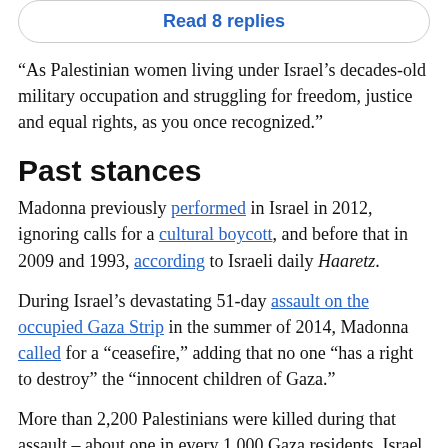[Figure (screenshot): Button/link reading 'Read 8 replies' inside a rounded rectangle border]
“As Palestinian women living under Israel’s decades-old military occupation and struggling for freedom, justice and equal rights, as you once recognized.”
Past stances
Madonna previously performed in Israel in 2012, ignoring calls for a cultural boycott, and before that in 2009 and 1993, according to Israeli daily Haaretz.
During Israel’s devastating 51-day assault on the occupied Gaza Strip in the summer of 2014, Madonna called for a “ceasefire,” adding that no one “has a right to destroy” the “innocent children of Gaza.”
More than 2,200 Palestinians were killed during that assault – about one in every 1,000 Gaza residents. Israel slaughtered an